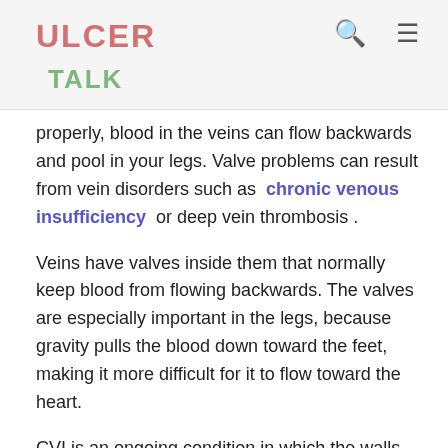ULCER TALK
properly, blood in the veins can flow backwards and pool in your legs. Valve problems can result from vein disorders such as chronic venous insufficiency or deep vein thrombosis .
Veins have valves inside them that normally keep blood from flowing backwards. The valves are especially important in the legs, because gravity pulls the blood down toward the feet, making it more difficult for it to flow toward the heart.
CVI is an ongoing condition in which the walls or the valves of the veins dont work properly. DVT is when bl[CLOSE]ots form in deep veins, which can damage the valves. A small number of people are also born without valves in their